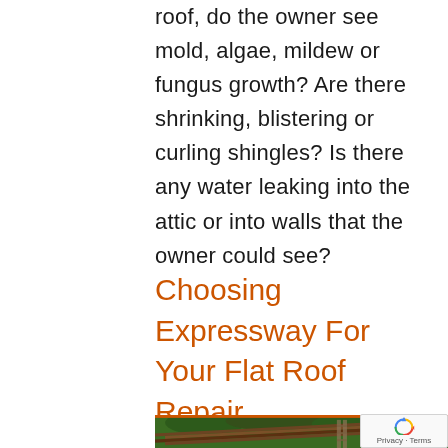roof, do the owner see mold, algae, mildew or fungus growth? Are there shrinking, blistering or curling shingles? Is there any water leaking into the attic or into walls that the owner could see?
Choosing Expressway For Your Flat Roof Repair
[Figure (photo): Photo of a roof with metal rafters/beams visible and green trees in the background, with an orange/brown border frame.]